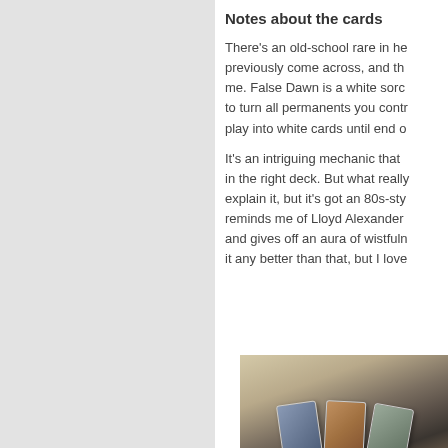Notes about the cards
There's an old-school rare in he previously come across, and th me. False Dawn is a white sorc to turn all permanents you contr play into white cards until end o
It's an intriguing mechanic that in the right deck. But what really explain it, but it's got an 80s-sty reminds me of Lloyd Alexander and gives off an aura of wistfuln it any better than that, but I love
[Figure (photo): Photo of trading cards laid out on a light-colored surface, showing several overlapping card images]